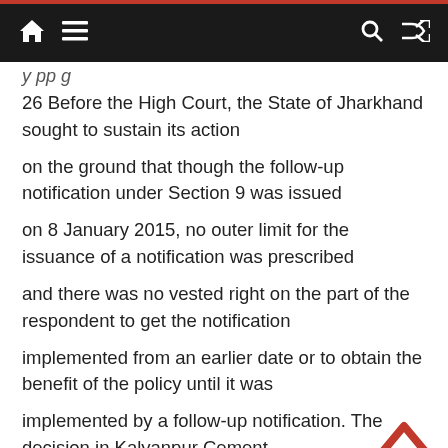Navigation bar with home, menu, search and shuffle icons
y pp g
26 Before the High Court, the State of Jharkhand sought to sustain its action
on the ground that though the follow-up notification under Section 9 was issued
on 8 January 2015, no outer limit for the issuance of a notification was prescribed
and there was no vested right on the part of the respondent to get the notification
implemented from an earlier date or to obtain the benefit of the policy until it was
implemented by a follow-up notification. The decision in Kalyanpur Cement